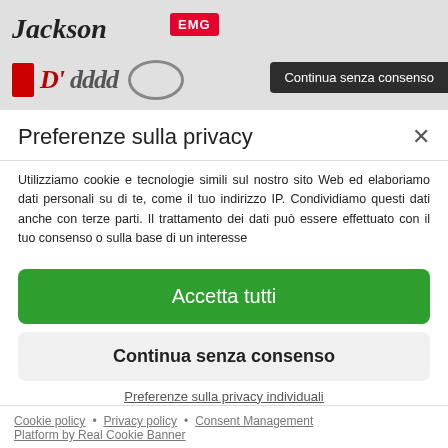[Figure (screenshot): Background banner with Jackson and EMG logos, partially visible DiMarzio logo area]
Continua senza consenso
Preferenze sulla privacy
Utilizziamo cookie e tecnologie simili sul nostro sito Web ed elaboriamo dati personali su di te, come il tuo indirizzo IP. Condividiamo questi dati anche con terze parti. Il trattamento dei dati può essere effettuato con il tuo consenso o sulla base di un interesse
Accetta tutti
Continua senza consenso
Preferenze sulla privacy individuali
Cookie policy • Privacy policy • Consent Management Platform by Real Cookie Banner